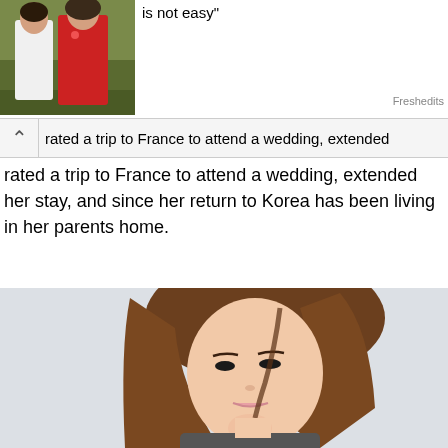[Figure (photo): Couple photo, man in white and woman in red dress, outdoor setting]
is not easy"
Freshedits
rated a trip to France to attend a wedding, extended her stay, and since her return to Korea has been living in her parents home.
[Figure (photo): Portrait of a young Asian woman with long brown hair against a white/light grey background, posing with hand near chin]